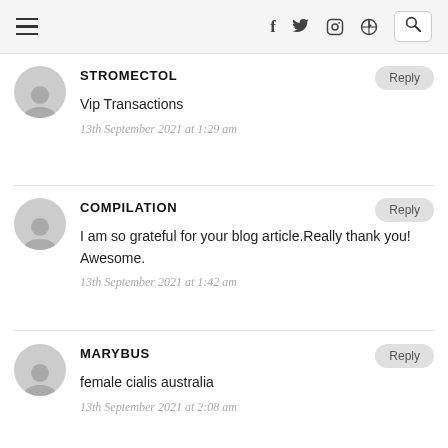Navigation bar with hamburger menu, social icons (f, twitter, instagram, pinterest), and search icon
STROMECTOL
Vip Transactions
13th September 2021 at 1:29 am
COMPILATION
I am so grateful for your blog article.Really thank you! Awesome.
13th September 2021 at 1:42 am
MARYBUS
female cialis australia
13th September 2021 at 2:08 am